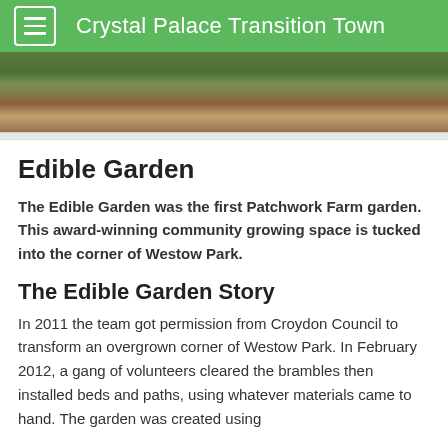Crystal Palace Transition Town
[Figure (photo): Outdoor garden/park scene with greenery and brick wall visible at top of page]
Edible Garden
The Edible Garden was the first Patchwork Farm garden. This award-winning community growing space is tucked into the corner of Westow Park.
The Edible Garden Story
In 2011 the team got permission from Croydon Council to transform an overgrown corner of Westow Park. In February 2012, a gang of volunteers cleared the brambles then installed beds and paths, using whatever materials came to hand. The garden was created using